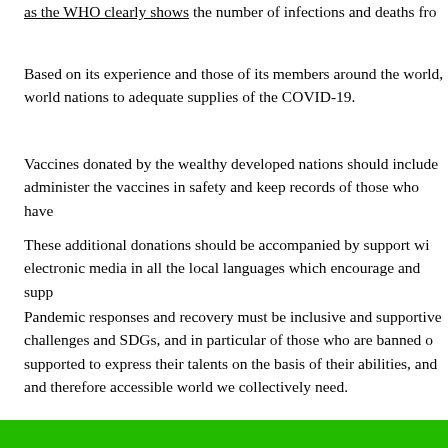as the WHO clearly shows the number of infections and deaths fro...
Based on its experience and those of its members around the world, world nations to adequate supplies of the COVID-19.
Vaccines donated by the wealthy developed nations should include administer the vaccines in safety and keep records of those who have...
These additional donations should be accompanied by support wi... electronic media in all the local languages which encourage and supp...
Pandemic responses and recovery must be inclusive and supportive challenges and SDGs, and in particular of those who are banned o... supported to express their talents on the basis of their abilities, and and therefore accessible world we collectively need.